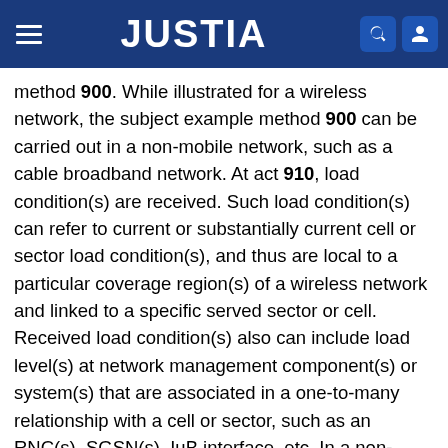JUSTIA
method 900. While illustrated for a wireless network, the subject example method 900 can be carried out in a non-mobile network, such as a cable broadband network. At act 910, load condition(s) are received. Such load condition(s) can refer to current or substantially current cell or sector load condition(s), and thus are local to a particular coverage region(s) of a wireless network and linked to a specific served sector or cell. Received load condition(s) also can include load level(s) at network management component(s) or system(s) that are associated in a one-to-many relationship with a cell or sector, such as an RNC(s), SGSN(s), IuB interface, etc. In a non-mobile network, load condition(s) can correspond to region where a specific service, e.g., high-speed internet, or pay-per-view programming, is provided. Receiving load condition(s) also can include decoding thereof or any associated content. Load